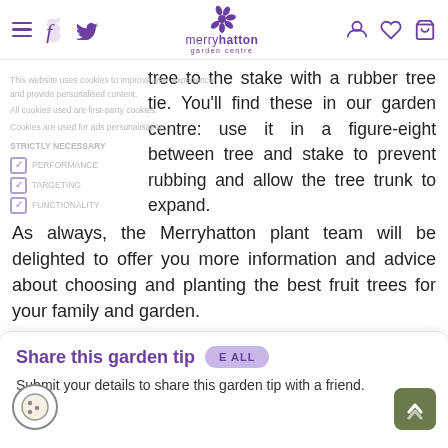merryhatton garden centre
tree to the stake with a rubber tree tie. You'll find these in our garden centre: use it in a figure-eight between tree and stake to prevent rubbing and allow the tree trunk to expand.
As always, the Merryhatton plant team will be delighted to offer you more information and advice about choosing and planting the best fruit trees for your family and garden.
Share this garden tip
Submit your details to share this garden tip with a friend.